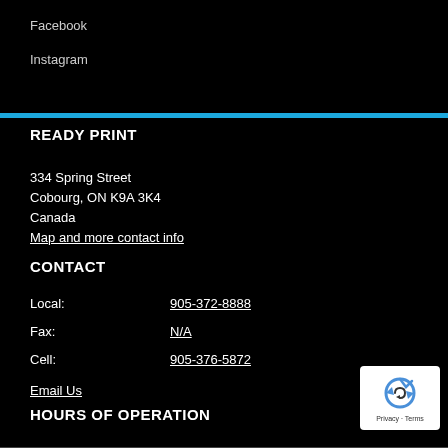Facebook
Instagram
READY PRINT
334 Spring Street
Cobourg, ON K9A 3K4
Canada
Map and more contact info
CONTACT
Local:  905-372-8888
Fax:  N/A
Cell:  905-376-5872
Email Us
HOURS OF OPERATION
9:00am to 4:00pm
Monday through Friday.

After Hours Emergencies,
Call: 905-376-5872